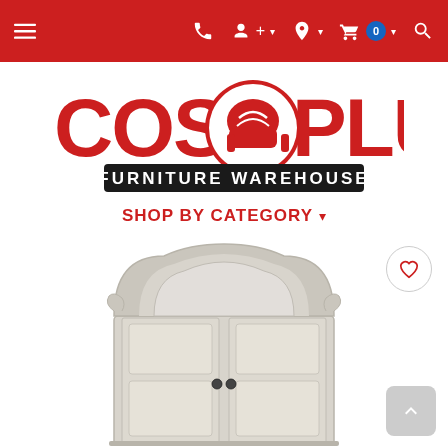Navigation bar with menu, phone, account, location, cart (0), and search icons
[Figure (logo): Cost Plus Furniture Warehouse logo with red lettering and a red armchair icon in the center]
SHOP BY CATEGORY ▾
[Figure (photo): A white/grey ornate armoire or wardrobe with a baroque-style arched top, double doors with small dark knobs, displayed on a white background]